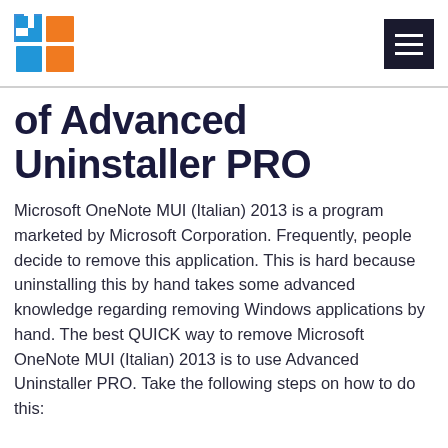[Figure (logo): Windows logo composed of blue and orange squares, and a hamburger menu icon on the right]
of Advanced Uninstaller PRO
Microsoft OneNote MUI (Italian) 2013 is a program marketed by Microsoft Corporation. Frequently, people decide to remove this application. This is hard because uninstalling this by hand takes some advanced knowledge regarding removing Windows applications by hand. The best QUICK way to remove Microsoft OneNote MUI (Italian) 2013 is to use Advanced Uninstaller PRO. Take the following steps on how to do this: